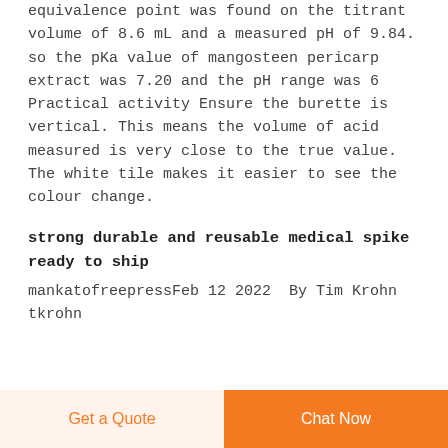equivalence point was found on the titrant volume of 8.6 mL and a measured pH of 9.84. so the pKa value of mangosteen pericarp extract was 7.20 and the pH range was 6 Practical activity Ensure the burette is vertical. This means the volume of acid measured is very close to the true value. The white tile makes it easier to see the colour change.
strong durable and reusable medical spike ready to ship
mankatofreepressFeb 12 2022  By Tim Krohn tkrohn
Get a Quote  Chat Now